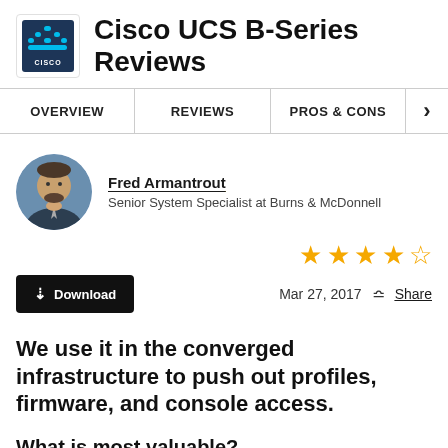Cisco UCS B-Series Reviews
OVERVIEW | REVIEWS | PROS & CONS | >
Fred Armantrout
Senior System Specialist at Burns & McDonnell
★★★★½  Mar 27, 2017  Share
We use it in the converged infrastructure to push out profiles, firmware, and console access.
What is most valuable?